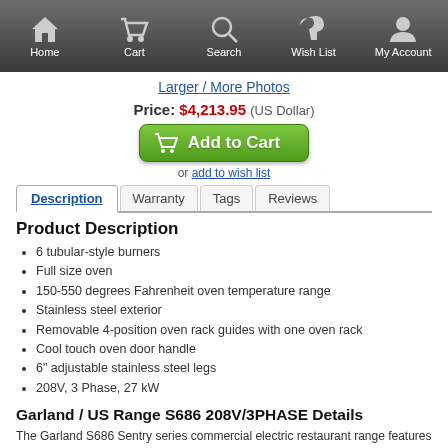Home | Cart | Search | Wish List | My Account
Larger / More Photos
Price: $4,213.95 (US Dollar)
Add to Cart
or add to wish list
Description | Warranty | Tags | Reviews
Product Description
6 tubular-style burners
Full size oven
150-550 degrees Fahrenheit oven temperature range
Stainless steel exterior
Removable 4-position oven rack guides with one oven rack
Cool touch oven door handle
6" adjustable stainless steel legs
208V, 3 Phase, 27 kW
Garland / US Range S686 208V/3PHASE Details
The Garland S686 Sentry series commercial electric restaurant range features six powerful, tubular-style heating elements, providing ample